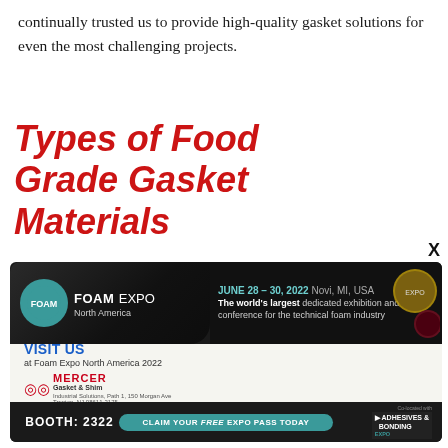continually trusted us to provide high-quality gasket solutions for even the most challenging projects.
Types of Food Grade Gasket Materials
[Figure (advertisement): Foam Expo North America 2022 advertisement for Mercer Gasket & Shim. Features Foam Expo logo, event dates June 28-30 2022 in Novi MI USA, 'The world's largest dedicated exhibition and conference for the technical foam industry', Visit Us at Foam Expo North America 2022, Mercer Gasket & Shim logo, Booth: 2322, Claim Your FREE EXPO PASS TODAY, Co-located with Adhesives & Bonding Expo.]